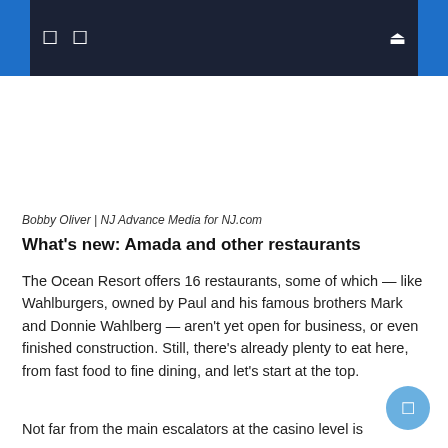Navigation bar with menu icons and search
[Figure (photo): Photo placeholder area for restaurant image]
Bobby Oliver | NJ Advance Media for NJ.com
What's new: Amada and other restaurants
The Ocean Resort offers 16 restaurants, some of which — like Wahlburgers, owned by Paul and his famous brothers Mark and Donnie Wahlberg — aren't yet open for business, or even finished construction. Still, there's already plenty to eat here, from fast food to fine dining, and let's start at the top.
Not far from the main escalators at the casino level is